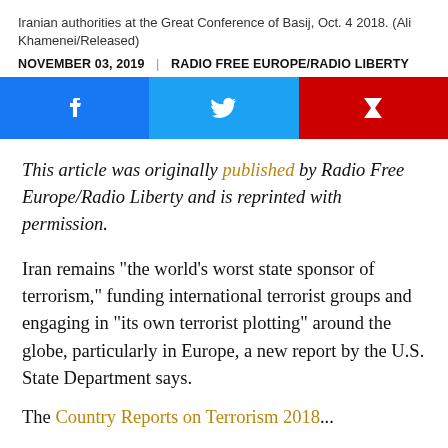Iranian authorities at the Great Conference of Basij, Oct. 4 2018. (Ali Khamenei/Released)
NOVEMBER 03, 2019  |  RADIO FREE EUROPE/RADIO LIBERTY
[Figure (other): Social share buttons: Facebook (blue), Twitter (light blue), Flipboard (red)]
This article was originally published by Radio Free Europe/Radio Liberty and is reprinted with permission.
Iran remains “the world’s worst state sponsor of terrorism,” funding international terrorist groups and engaging in “its own terrorist plotting” around the globe, particularly in Europe, a new report by the U.S. State Department says.
The Country Reports on Terrorism 2018...